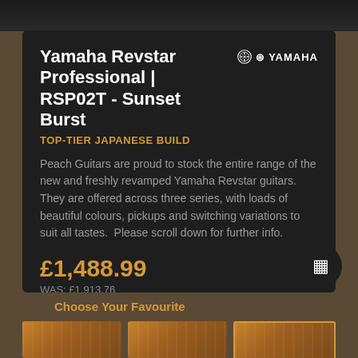[Figure (photo): Top dark image strip showing part of a guitar]
Yamaha Revstar Professional | RSP02T - Sunset Burst
TOP-TIER JAPANESE BUILD
[Figure (logo): Yamaha logo with tuning fork symbol]
Peach Guitars are proud to stock the entire range of the new and freshly revamped Yamaha Revstar guitars. They are offered across three series, with loads of beautiful colours, pickups and switching variations to suit all tastes.  Please scroll down for further info.
£1,488.99
WAS: £1,913.76
Choose Your Favourite
[Figure (photo): Three thumbnail images of Yamaha Revstar guitar variants at the bottom]